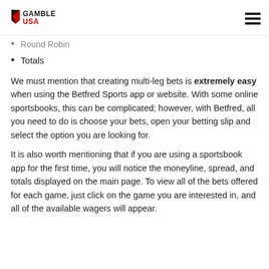GAMBLE USA
Round Robin
Totals
We must mention that creating multi-leg bets is extremely easy when using the Betfred Sports app or website. With some online sportsbooks, this can be complicated; however, with Betfred, all you need to do is choose your bets, open your betting slip and select the option you are looking for.
It is also worth mentioning that if you are using a sportsbook app for the first time, you will notice the moneyline, spread, and totals displayed on the main page. To view all of the bets offered for each game, just click on the game you are interested in, and all of the available wagers will appear.